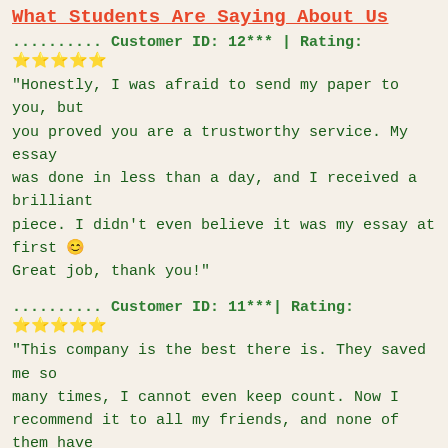What Students Are Saying About Us
.......... Customer ID: 12*** | Rating: ★★★★★
"Honestly, I was afraid to send my paper to you, but you proved you are a trustworthy service. My essay was done in less than a day, and I received a brilliant piece. I didn't even believe it was my essay at first 😊 Great job, thank you!"
.......... Customer ID: 11***| Rating: ★★★★★
"This company is the best there is. They saved me so many times, I cannot even keep count. Now I recommend it to all my friends, and none of them have complained about it. The writers here are excellent."
"Order a custom Paper on Similar Assignment at essayfount.com! No Plagiarism! Enjoy 20%